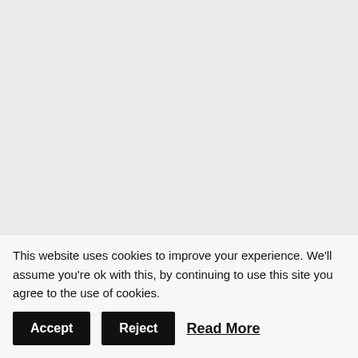Love and Light,
Linda and The L
Gift vouch
« Self Relian
Navigate....
Latest tweet
HOME
HOW I HELP
https://t.co/xmEmE1YHg
1196 days ago
This website uses cookies to improve your experience. We'll assume you're ok with this, by continuing to use this site you agree to the use of cookies.
Accept
Reject
Read More